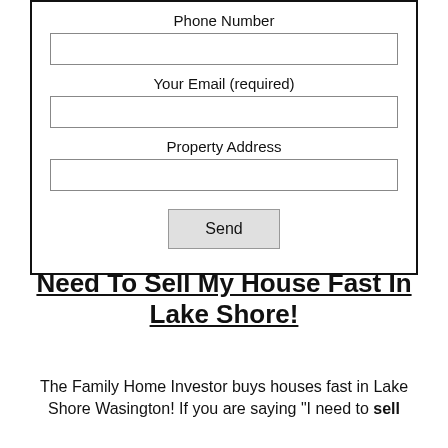Phone Number
Your Email (required)
Property Address
Send
Need To Sell My House Fast In Lake Shore!
The Family Home Investor buys houses fast in Lake Shore Wasington! If you are saying "I need to sell